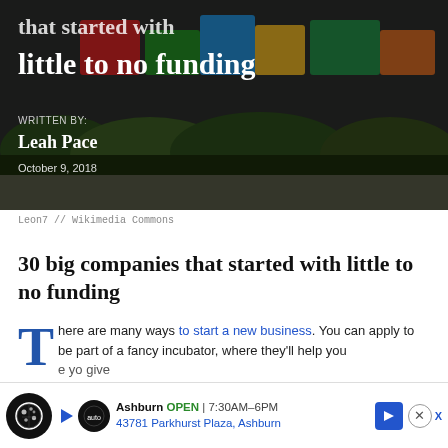[Figure (photo): Hero image of colorful Google-style signage with bushes/landscaping in the background, dark night/evening setting, with overlaid title text]
that started with little to no funding
WRITTEN BY:
Leah Pace
October 9, 2018
Leon7 // Wikimedia Commons
30 big companies that started with little to no funding
There are many ways to start a new business. You can apply to be part of a fancy incubator, where they'll help you
[Figure (other): Advertisement bar: cookie consent icon, play button, Greenway Auto logo, Ashburn OPEN 7:30AM-6PM, 43781 Parkhurst Plaza Ashburn, navigation arrow, close X button]